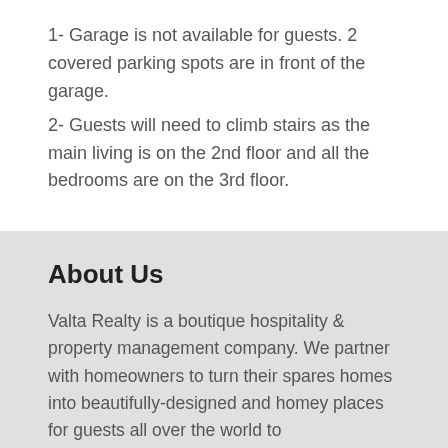1- Garage is not available for guests. 2 covered parking spots are in front of the garage.
2- Guests will need to climb stairs as the main living is on the 2nd floor and all the bedrooms are on the 3rd floor.
About Us
Valta Realty is a boutique hospitality & property management company. We partner with homeowners to turn their spares homes into beautifully-designed and homey places for guests all over the world to